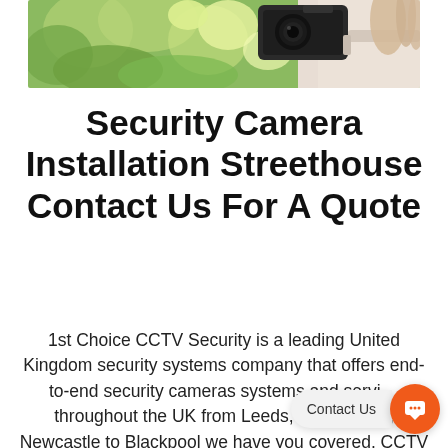[Figure (photo): A security camera being installed outdoors, with green foliage background and a person's arm/hand visible holding the camera mount against a wall.]
Security Camera Installation Streethouse Contact Us For A Quote
1st Choice CCTV Security is a leading United Kingdom security systems company that offers end-to-end security cameras systems and services throughout the UK from Leeds, Manchester, Newcastle to Blackpool we have you covered. CCTV